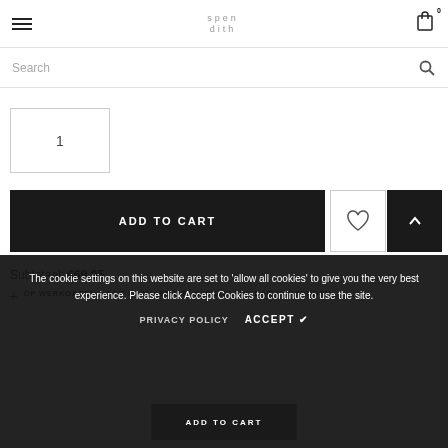☰  spendith  🛒 0
Search
1
ADD TO CART
Subtotaal: €69.95
+ OP WERKDAGEN VOOR 16.00U BESTELD, DEZELFDE DAG VERZONDEN.
The cookie settings on this website are set to 'allow all cookies' to give you the very best experience. Please click Accept Cookies to continue to use the site.
PRIVACY POLICY   ACCEPT ✔
ADD TO CART